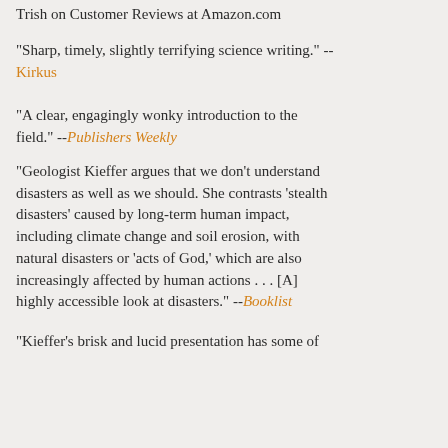Trish on Customer Reviews at Amazon.com
"Sharp, timely, slightly terrifying science writing." --Kirkus
"A clear, engagingly wonky introduction to the field." --Publishers Weekly
"Geologist Kieffer argues that we don't understand disasters as well as we should. She contrasts 'stealth disasters' caused by long-term human impact, including climate change and soil erosion, with natural disasters or 'acts of God,' which are also increasingly affected by human actions . . . [A] highly accessible look at disasters." --Booklist
"Kieffer's brisk and lucid presentation has some of